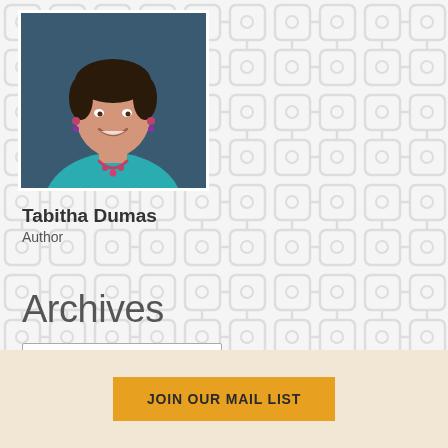[Figure (photo): Headshot of Tabitha Dumas, a woman with short dark hair wearing a teal top and colorful necklace and earrings, smiling.]
Tabitha Dumas
Author
Archives
Select Month
JOIN OUR MAIL LIST